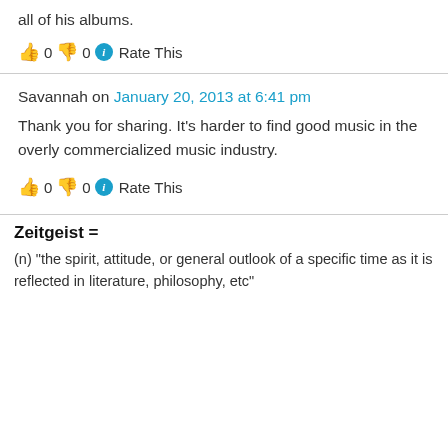all of his albums.
👍 0 👎 0 ℹ Rate This
Savannah on January 20, 2013 at 6:41 pm
Thank you for sharing. It's harder to find good music in the overly commercialized music industry.
👍 0 👎 0 ℹ Rate This
Zeitgeist =
(n) "the spirit, attitude, or general outlook of a specific time as it is reflected in literature, philosophy, etc"